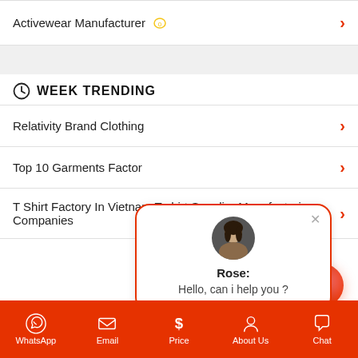Activewear Manufacturer 0
WEEK TRENDING
Relativity Brand Clothing
Top 10 Garments Factor
T Shirt Factory In Vietnam T shirt Supplier Manufacturing Companies
[Figure (screenshot): Chat popup with avatar of Rose saying Hello, can i help you?]
WhatsApp  Email  Price  About Us  Chat